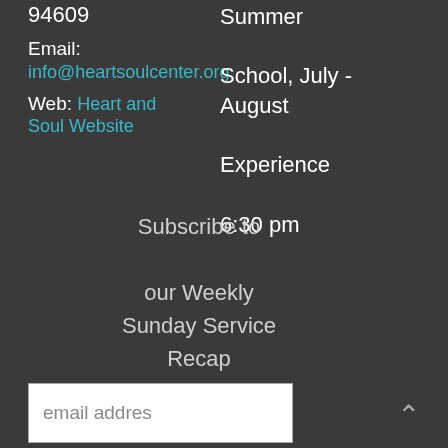94609
Email:
info@heartsoulcenter.org
Web: Heart and Soul Website
Summer School, July - August Experience 6:30 pm
Subscribe to our Weekly Sunday Service Recap
email addres
Subscribe